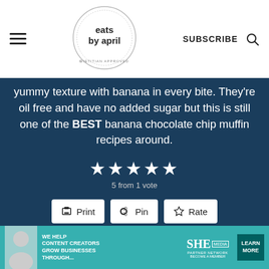eats by april — DIETITIAN APPROVED | SUBSCRIBE
yummy texture with banana in every bite. They're oil free and have no added sugar but this is still one of the BEST banana chocolate chip muffin recipes around.
5 from 1 vote
Course: Breakfast, Snack   Cuisine: American
Keyword: banana muffin, healthy snack, muffin
Prep Time: 10 minutes   Cook Time: 18 minutes
Total Time: 28 minutes   Servings: 12 muffins
[Figure (screenshot): Advertisement banner: SHE Media partner network — We help content creators grow businesses through...]